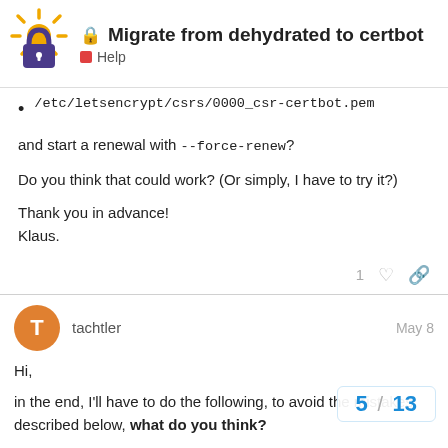Migrate from dehydrated to certbot — Help
/etc/letsencrypt/csrs/0000_csr-certbot.pem
and start a renewal with --force-renew?
Do you think that could work? (Or simply, I have to try it?)
Thank you in advance!
Klaus.
tachtler    May 8
Hi,
in the end, I'll have to do the following, to avoid the mistakes described below, what do you think?
Failure to update TLSA records before upc...
5 / 13